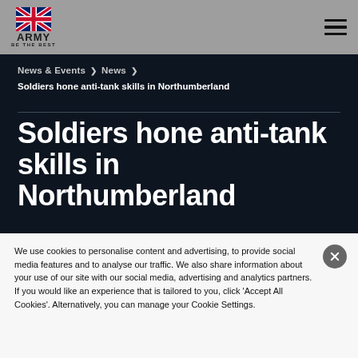[Figure (logo): British Army logo with Union Jack flag, text 'ARMY' and 'BE THE BEST']
News & Events > News
Soldiers hone anti-tank skills in Northumberland
Soldiers hone anti-tank skills in Northumberland
We use cookies to personalise content and advertising, to provide social media features and to analyse our traffic. We also share information about your use of our site with our social media, advertising and analytics partners. If you would like an experience that is tailored to you, click 'Accept All Cookies'. Alternatively, you can manage your Cookie Settings.